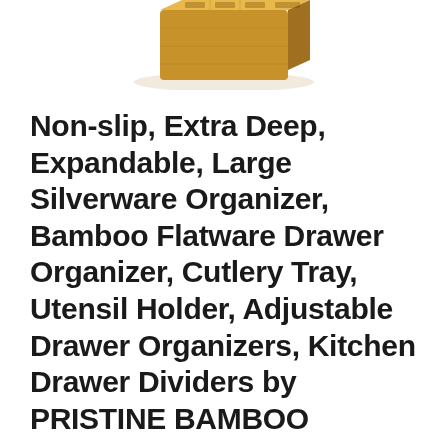[Figure (photo): Partial view of a bamboo silverware/flatware drawer organizer product shown at the top of the page, cropped.]
Non-slip, Extra Deep, Expandable, Large Silverware Organizer, Bamboo Flatware Drawer Organizer, Cutlery Tray, Utensil Holder, Adjustable Drawer Organizers, Kitchen Drawer Dividers by PRISTINE BAMBOO